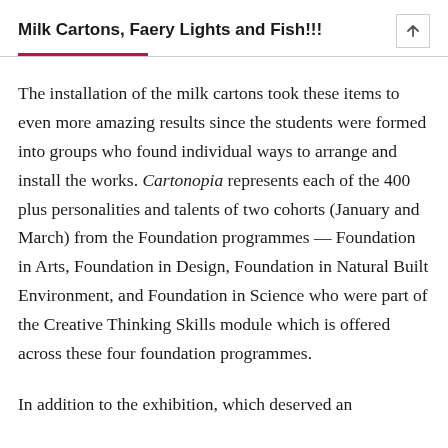Milk Cartons, Faery Lights and Fish!!!
The installation of the milk cartons took these items to even more amazing results since the students were formed into groups who found individual ways to arrange and install the works. Cartonopia represents each of the 400 plus personalities and talents of two cohorts (January and March) from the Foundation programmes — Foundation in Arts, Foundation in Design, Foundation in Natural Built Environment, and Foundation in Science who were part of the Creative Thinking Skills module which is offered across these four foundation programmes.
In addition to the exhibition, which deserved an